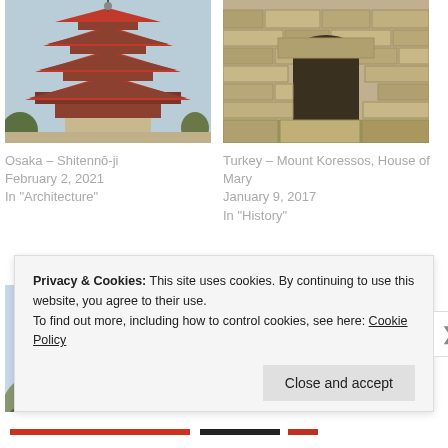[Figure (photo): Osaka Shitennoji pagoda photo - red multi-tiered Japanese temple pagoda against blue sky]
Osaka – Shitennō-ji
February 2, 2021
In "Architecture"
[Figure (photo): Turkey Mount Koressos House of Mary - stone ancient building ruins]
Turkey – Mount Koressos, House of Mary
January 9, 2017
In "History"
[Figure (photo): Osaka Castle surrounded by trees in winter]
O... (partially hidden by cookie banner)
Privacy & Cookies: This site uses cookies. By continuing to use this website, you agree to their use.
To find out more, including how to control cookies, see here: Cookie Policy
Close and accept